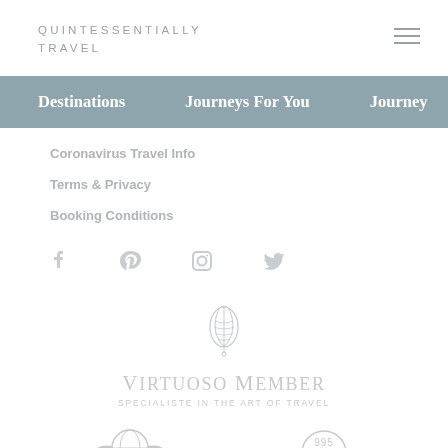QUINTESSENTIALLY TRAVEL
Destinations   Journeys For You   Journeys
Coronavirus Travel Info
Terms & Privacy
Booking Conditions
[Figure (infographic): Social media icons: Facebook, Pinterest, Instagram, Twitter]
[Figure (logo): Virtuoso Member - Specialiste in the Art of Travel logo with feather/leaf emblem]
[Figure (logo): Two partially visible circular logos at the bottom of the page]